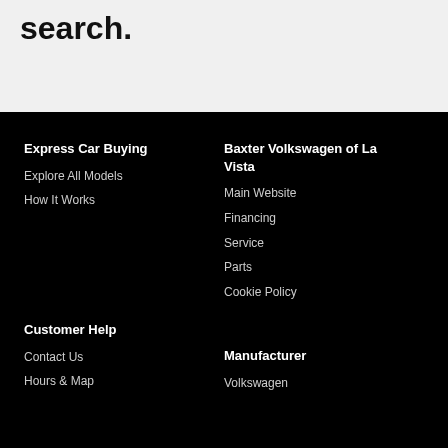search.
Express Car Buying
Explore All Models
How It Works
Baxter Volkswagen of La Vista
Main Website
Financing
Service
Parts
Cookie Policy
Customer Help
Contact Us
Hours & Map
Manufacturer
Volkswagen